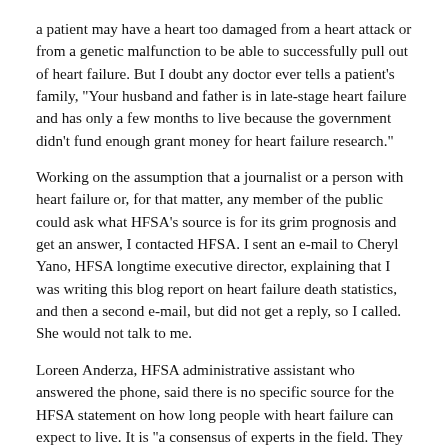a patient may have a heart too damaged from a heart attack or from a genetic malfunction to be able to successfully pull out of heart failure.  But I doubt any doctor ever tells a patient's family, "Your husband and father is in late-stage heart failure and has only a few months to live because the government didn't fund enough grant money for heart failure research."
Working on the assumption that a journalist or a person with heart failure or, for that matter, any member of the public could ask what HFSA's source is for its grim prognosis and get an answer, I contacted HFSA.  I sent an e-mail to Cheryl Yano, HFSA longtime executive director, explaining that I was writing this blog report on heart failure death statistics, and then a second e-mail, but did not get a reply, so I called.  She would not talk to me.
Loreen Anderza, HFSA administrative assistant who answered the phone, said there is no specific source for the HFSA statement on how long people with heart failure can expect to live.  It is "a consensus of experts in the field.  They have no source for it," she said, after putting me on hold to